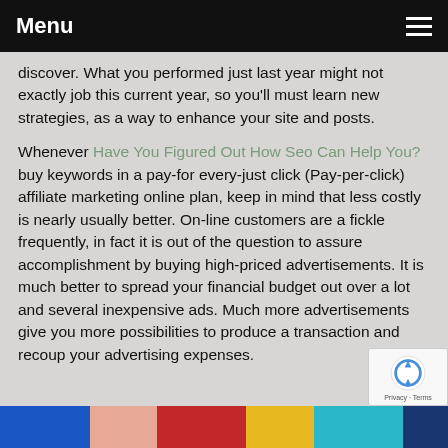Menu
discover. What you performed just last year might not exactly job this current year, so you'll must learn new strategies, as a way to enhance your site and posts.
Whenever Have You Figured Out How Seo Can Help You? buy keywords in a pay-for every-just click (Pay-per-click) affiliate marketing online plan, keep in mind that less costly is nearly usually better. On-line customers are a fickle frequently, in fact it is out of the question to assure accomplishment by buying high-priced advertisements. It is much better to spread your financial budget out over a lot and several inexpensive ads. Much more advertisements give you more possibilities to produce a transaction and recoup your advertising expenses.
[Figure (other): Colorful horizontal bar strip at the bottom of the page in blue, peach, red, yellow, teal, and navy segments, with partial social media bar icons visible below]